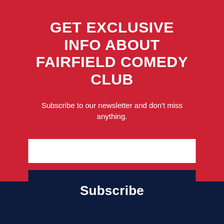GET EXCLUSIVE INFO ABOUT FAIRFIELD COMEDY CLUB
Subscribe to our newsletter and don't miss anything.
[Figure (other): White email input text field]
Subscribe